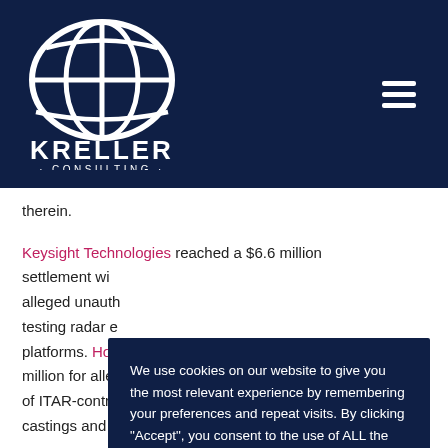[Figure (logo): Kreller Consulting globe logo with navigation header bar, dark navy background, white logo and hamburger menu icon]
therein.
Keysight Technologies reached a $6.6 million settlement with [partially obscured] alleged unauthorized [partially obscured] testing radar e[partially obscured] platforms. Ho[partially obscured] million for alle[partially obscured] of ITAR-contr[partially obscured] castings and finished parts for aircraft, gas turbine
We use cookies on our website to give you the most relevant experience by remembering your preferences and repeat visits. By clicking “Accept”, you consent to the use of ALL the cookies.
Cookie settings
ACCEPT